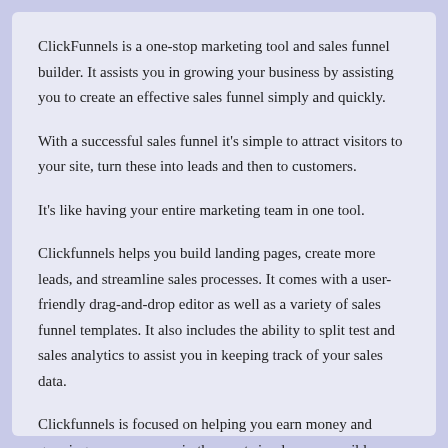ClickFunnels is a one-stop marketing tool and sales funnel builder. It assists you in growing your business by assisting you to create an effective sales funnel simply and quickly.
With a successful sales funnel it's simple to attract visitors to your site, turn these into leads and then to customers.
It's like having your entire marketing team in one tool.
Clickfunnels helps you build landing pages, create more leads, and streamline sales processes. It comes with a user-friendly drag-and-drop editor as well as a variety of sales funnel templates. It also includes the ability to split test and sales analytics to assist you in keeping track of your sales data.
Clickfunnels is focused on helping you earn money and growing your company in the most simple way possible.